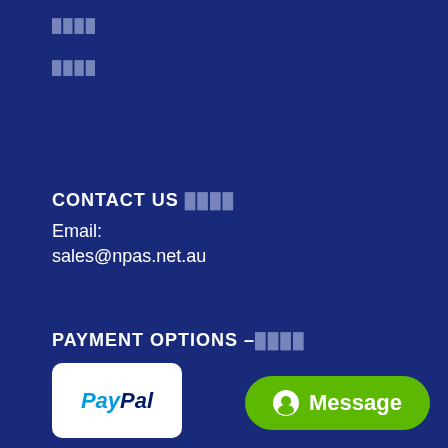████
████
CONTACT US ████
Email: sales@npas.net.au
PAYMENT OPTIONS –████
[Figure (logo): PayPal logo in white rounded rectangle box]
[Figure (other): Green Message button with alien/chat icon and text 'Message']